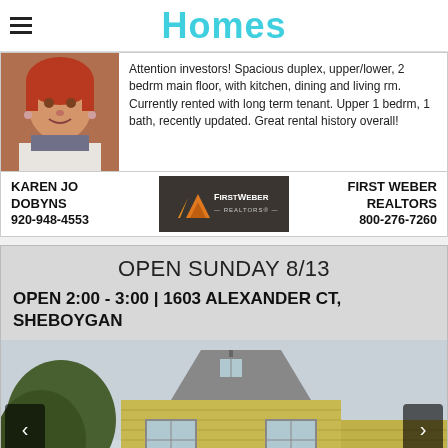Homes
Attention investors! Spacious duplex, upper/lower, 2 bedrm main floor, with kitchen, dining and living rm. Currently rented with long term tenant. Upper 1 bedrm, 1 bath, recently updated. Great rental history overall!
KAREN JO DOBYNS 920-948-4553
[Figure (logo): First Weber Realtors logo on dark background]
FIRST WEBER REALTORS 800-276-7260
OPEN SUNDAY 8/13
OPEN 2:00 - 3:00 | 1603 ALEXANDER CT, SHEBOYGAN
[Figure (photo): Photo of a yellow house exterior]